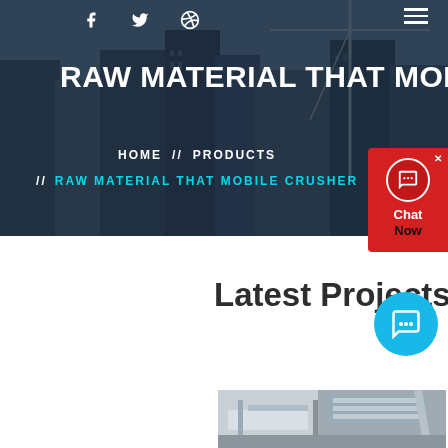[Figure (photo): Hero background photo of construction site with cranes and tall buildings against a blue sky, overlaid with dark semi-transparent color]
RAW MATERIAL THAT MOBILE C
HOME // PRODUCTS // RAW MATERIAL THAT MOBILE CRUSHER
Latest Projects
[Figure (photo): Industrial machinery/crusher equipment inside a facility]